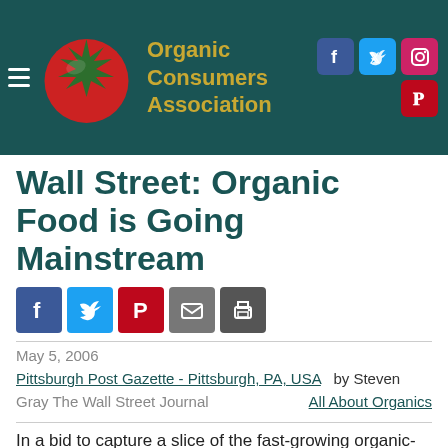Organic Consumers Association
Wall Street: Organic Food is Going Mainstream
May 5, 2006
Pittsburgh Post Gazette - Pittsburgh, PA, USA   by Steven Gray The Wall Street Journal   All About Organics
In a bid to capture a slice of the fast-growing organic-foods market, mainstream supermarket chains are rushing out